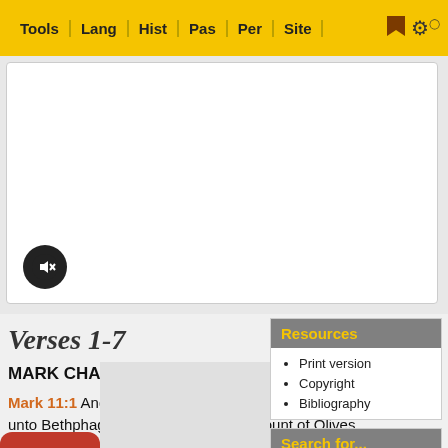Tools | Lang | Hist | Pas | Per | Site
[Figure (screenshot): White content card with mute/audio button (black circle with speaker-off icon)]
Verses 1-7
MARK CHAPTER ELEVEN
Mark 11:1 And when they came nigh to Jerusalem, unto Bethphage and Bethany, at the mount of Olives, he sendeth forth of his disciples, 2 And saith unto them, Go your way into the village soon
Print version
Copyright
Bibliography
[Figure (screenshot): Search for... box with text input and gold plus button]